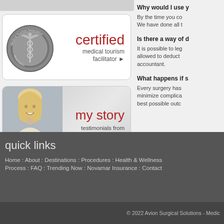[Figure (logo): Medical Tourism Association certified medical tourism facilitator badge with caduceus medal]
[Figure (photo): My story - testimonials from our clients banner with smiling middle-aged woman]
Why would I use y
By the time you co
We have done all t
Is there a way of d
It is possible to leg
allowed to deduct
accountant.
What happens if s
Every surgery has
minimize complica
best possible outc
quick links
Home : About : Destinations : Procedures : Health & Wellness
Process : FAQ : Trending Now : Novamar Insurance : Contact
© 2022 Avion Surgical Solutions - Medic